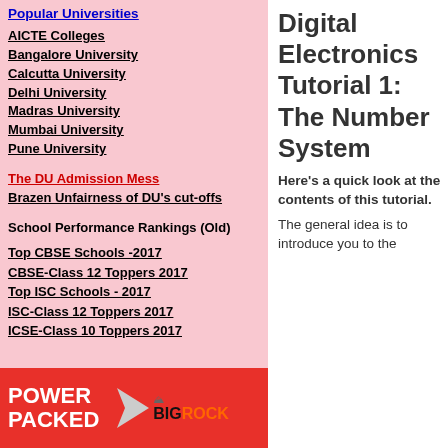Popular Universities
AICTE Colleges
Bangalore University
Calcutta University
Delhi University
Madras University
Mumbai University
Pune University
The DU Admission Mess
Brazen Unfairness of DU's cut-offs
School Performance Rankings (Old)
Top CBSE Schools -2017
CBSE-Class 12 Toppers 2017
Top ISC Schools - 2017
ISC-Class 12 Toppers 2017
ICSE-Class 10 Toppers 2017
[Figure (infographic): BigRock advertisement banner with red background, POWER PACKED text in white, and BigRock logo]
Digital Electronics Tutorial 1: The Number System
Here's a quick look at the contents of this tutorial.
The general idea is to introduce you to the